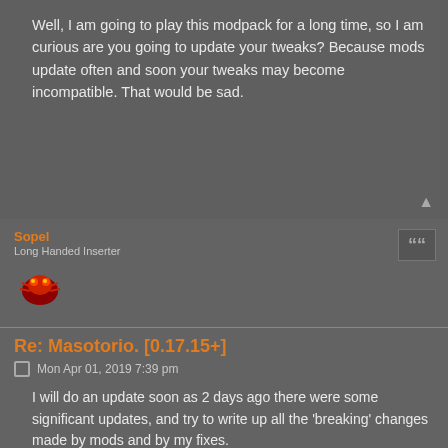Well, I am going to play this modpack for a long time, so I am curious are you going to update your tweaks? Because mods update often and soon your tweaks may become incompatible. That would be sad.
Sopel
Long Handed Inserter
Re: Masotorio. [0.17.15+]
Mon Apr 01, 2019 7:39 pm
I will do an update soon as 2 days ago there were some significant updates, and try to write up all the 'breaking' changes made by mods and by my fixes.

updated
Kostia81
Manual Inserter